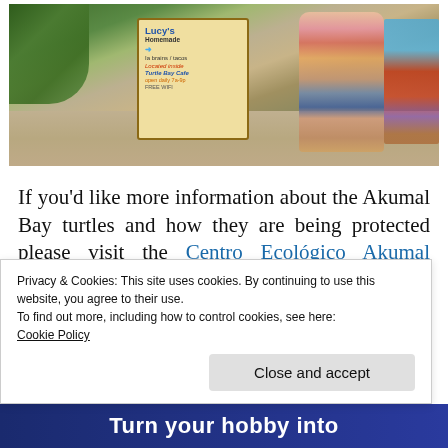[Figure (photo): A woman standing next to a wooden sign for 'Lucy's' located inside Turtle Bay Cafe, with tropical greenery and colorful buildings in the background on a gravel path.]
If you'd like more information about the Akumal Bay turtles and how they are being protected please visit the Centro Ecológico Akumal website.
Advertisements
Privacy & Cookies: This site uses cookies. By continuing to use this website, you agree to their use.
To find out more, including how to control cookies, see here:
Cookie Policy
Close and accept
Turn your hobby into